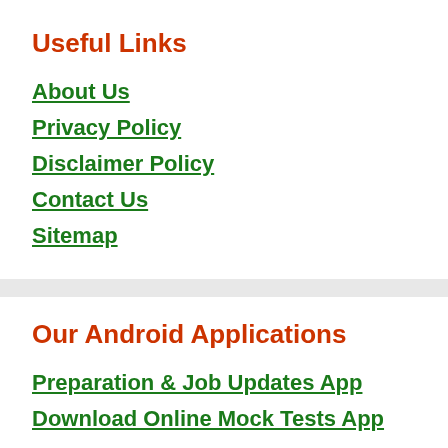Useful Links
About Us
Privacy Policy
Disclaimer Policy
Contact Us
Sitemap
Our Android Applications
Preparation & Job Updates App
Download Online Mock Tests App